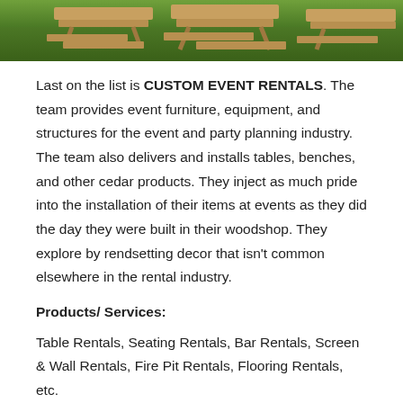[Figure (photo): Outdoor wooden picnic tables with benches on green grass, photographed from above/side angle showing cedar/wood construction.]
Last on the list is CUSTOM EVENT RENTALS. The team provides event furniture, equipment, and structures for the event and party planning industry. The team also delivers and installs tables, benches, and other cedar products. They inject as much pride into the installation of their items at events as they did the day they were built in their woodshop. They explore by rendsetting decor that isn't common elsewhere in the rental industry.
Products/ Services:
Table Rentals, Seating Rentals, Bar Rentals, Screen & Wall Rentals, Fire Pit Rentals, Flooring Rentals, etc.
LOCATION: